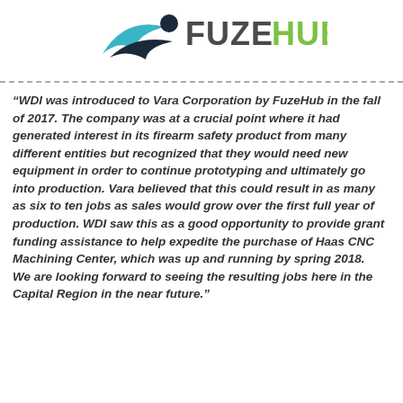[Figure (logo): FuzeHub logo with stylized swoosh graphic and green/dark text reading FUZEHUB]
“WDI was introduced to Vara Corporation by FuzeHub in the fall of 2017. The company was at a crucial point where it had generated interest in its firearm safety product from many different entities but recognized that they would need new equipment in order to continue prototyping and ultimately go into production. Vara believed that this could result in as many as six to ten jobs as sales would grow over the first full year of production. WDI saw this as a good opportunity to provide grant funding assistance to help expedite the purchase of Haas CNC Machining Center, which was up and running by spring 2018. We are looking forward to seeing the resulting jobs here in the Capital Region in the near future.”